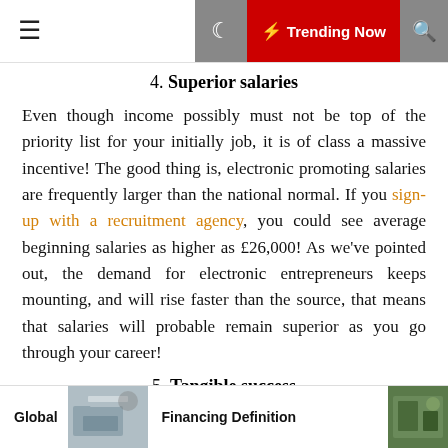≡  🌙  ⚡ Trending Now  🔍
4. Superior salaries
Even though income possibly must not be top of the priority list for your initially job, it is of class a massive incentive! The good thing is, electronic promoting salaries are frequently larger than the national normal. If you sign-up with a recruitment agency, you could see average beginning salaries as higher as £26,000! As we've pointed out, the demand for electronic entrepreneurs keeps mounting, and will rise faster than the source, that means that salaries will probable remain superior as you go through your career!
5. Tangible success
Even though these employment are not as focus on-driven as profits or finance roles, marketing and advertising work opportunities do advantage from the
Global   Financing Definition